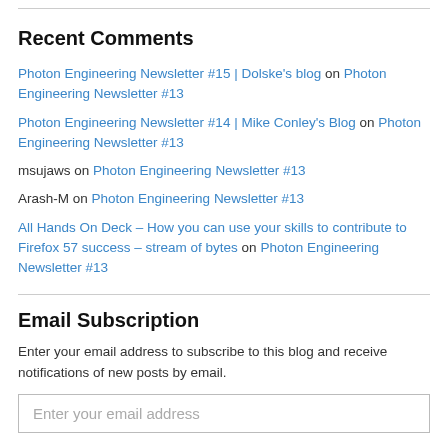Recent Comments
Photon Engineering Newsletter #15 | Dolske's blog on Photon Engineering Newsletter #13
Photon Engineering Newsletter #14 | Mike Conley's Blog on Photon Engineering Newsletter #13
msujaws on Photon Engineering Newsletter #13
Arash-M on Photon Engineering Newsletter #13
All Hands On Deck – How you can use your skills to contribute to Firefox 57 success – stream of bytes on Photon Engineering Newsletter #13
Email Subscription
Enter your email address to subscribe to this blog and receive notifications of new posts by email.
Enter your email address